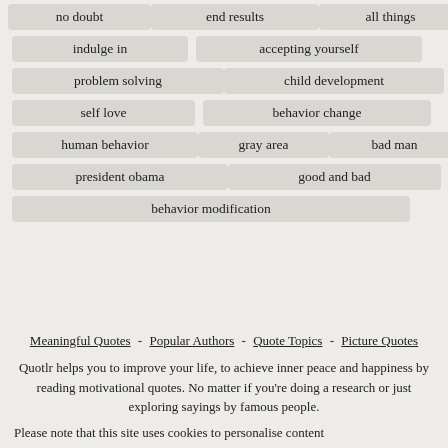no doubt
end results
all things
indulge in
accepting yourself
problem solving
child development
self love
behavior change
human behavior
gray area
bad man
president obama
good and bad
behavior modification
Meaningful Quotes - Popular Authors - Quote Topics - Picture Quotes
Quotlr helps you to improve your life, to achieve inner peace and happiness by reading motivational quotes. No matter if you're doing a research or just exploring sayings by famous people.
Please note that this site uses cookies to personalise content